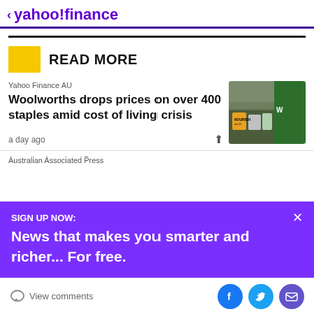< yahoo!finance
READ MORE
Yahoo Finance AU
Woolworths drops prices on over 400 staples amid cost of living crisis
a day ago
Australian Associated Press
SIGN UP NOW:
News that makes you smarter and richer... For free.
View comments